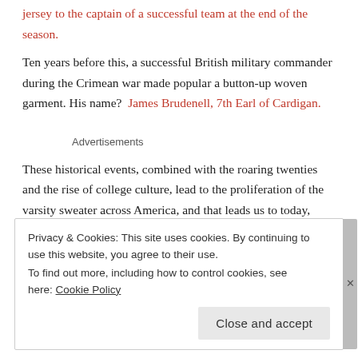jersey to the captain of a successful team at the end of the season.
Ten years before this, a successful British military commander during the Crimean war made popular a button-up woven garment. His name?  James Brudenell, 7th Earl of Cardigan.
Advertisements
These historical events, combined with the roaring twenties and the rise of college culture, lead to the proliferation of the varsity sweater across America, and that leads us to today, where I have a few to many of them in my closet, and yet, weirdly, not enough.
Privacy & Cookies: This site uses cookies. By continuing to use this website, you agree to their use. To find out more, including how to control cookies, see here: Cookie Policy